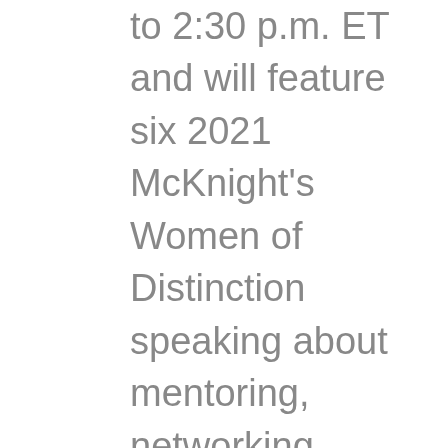to 2:30 p.m. ET and will feature six 2021 McKnight's Women of Distinction speaking about mentoring, networking, developing assertiveness, career advancement, leadership succession planning, and establishing organizational culture, among other topics. Sharing their wisdom will be PruittHealth Chief Strategy Officer Mary Ousley, Allure Group COO Melissa Powell, Green House Project Senior